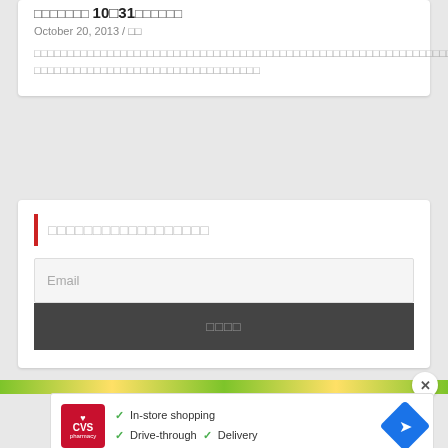October 20, 2013 / □□
□□□□□□□□□□□□□□□□□□□□□□□□□□□□□□□□□□□□□□□□□□□□□□□□□□□□□□□□□□□□□□□□□□□□□□□□□□□□□□□□□□□□□□□□□□□□□□□□□□□□□□□□□□□□□□□□□□□□□□□□□□□□□□□□
□□□□□□□□□□□□□□□□□
Email
□□□□
[Figure (other): CVS Pharmacy advertisement with in-store shopping, drive-through, and delivery options]
In-store shopping
Drive-through  Delivery